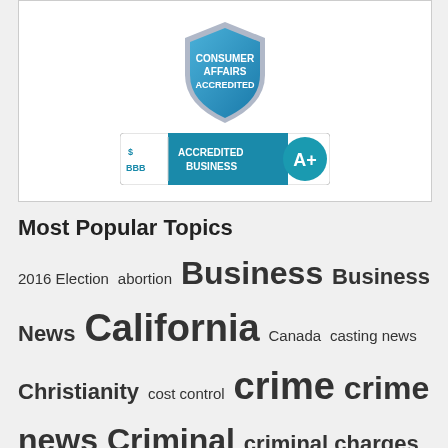[Figure (logo): Consumer Affairs Accredited shield badge and BBB Accredited Business A+ badge displayed inside a white bordered box]
Most Popular Topics
2016 Election abortion Business Business News California Canada casting news Christianity cost control crime crime news Criminal criminal charges Donald Trump England FBI FBI investigation Florida found dead Georgia Health News Illinois Islamic extremists liberal bias London man arrested Marvel